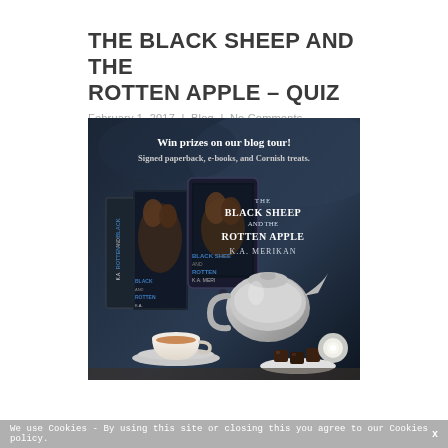THE BLACK SHEEP AND THE ROTTEN APPLE – QUIZ
February 1, 2017 | Blog | No Comments
[Figure (photo): Promotional blog tour image for 'The Black Sheep and the Rotten Apple' by K.A. Merikan. Dark atmospheric photo showing book covers (paperback and e-reader), a silver teapot, a teacup on a saucer, chocolates, and a white rose. Text overlay reads: 'Win prizes on our blog tour! Signed paperback, e-books, and Cornish treats.' The book title and author name 'K.A. MERIKAN' appear on the right side.]
We use Cookies - By using this site or closing this you agree to our Cookies policy.   x